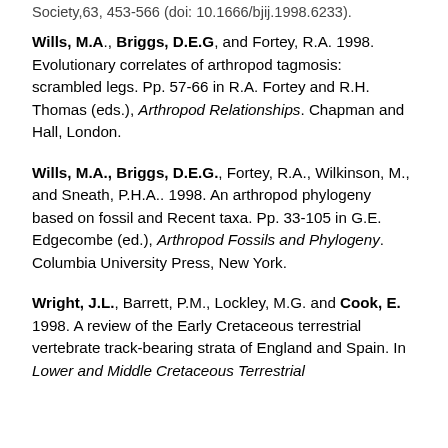Society,63, 453-566 (doi: 10.1666/bjij.1998.6233).
Wills, M.A., Briggs, D.E.G, and Fortey, R.A. 1998. Evolutionary correlates of arthropod tagmosis: scrambled legs. Pp. 57-66 in R.A. Fortey and R.H. Thomas (eds.), Arthropod Relationships. Chapman and Hall, London.
Wills, M.A., Briggs, D.E.G., Fortey, R.A., Wilkinson, M., and Sneath, P.H.A.. 1998. An arthropod phylogeny based on fossil and Recent taxa. Pp. 33-105 in G.E. Edgecombe (ed.), Arthropod Fossils and Phylogeny. Columbia University Press, New York.
Wright, J.L., Barrett, P.M., Lockley, M.G. and Cook, E. 1998. A review of the Early Cretaceous terrestrial vertebrate track-bearing strata of England and Spain. In Lower and Middle Cretaceous Terrestrial Ecosystems...